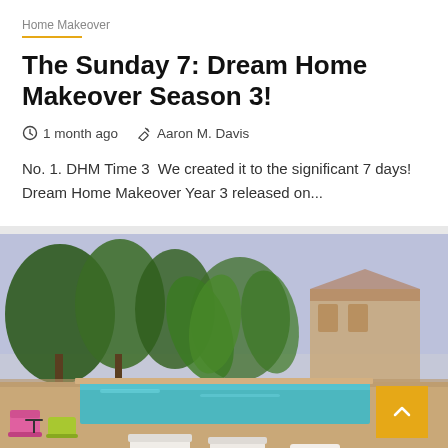Home Makeover
The Sunday 7: Dream Home Makeover Season 3!
1 month ago  Aaron M. Davis
No. 1. DHM Time 3  We created it to the significant 7 days! Dream Home Makeover Year 3 released on...
[Figure (photo): Outdoor pool area with colorful chairs, tropical trees and plants, a villa in the background, under a light blue sky. A yellow back-to-top button with a chevron/caret symbol is overlaid in the bottom-right corner.]